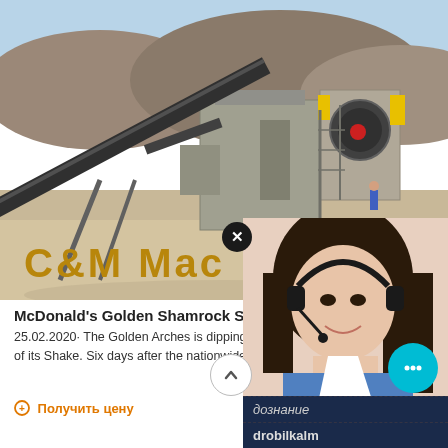[Figure (photo): Industrial crushing and screening plant with conveyor belts, machinery, and mountains in background. Sandy/dusty quarry site.]
C&M Mac
McDonald's Golden Shamrock Shake:
25.02.2020· The Golden Arches is dipping gold to mark the 50th anniversary of its Shake. Six days after the nationwide ret
⊕ Получить цену
[Figure (photo): Customer service woman with headset smiling, popup chat widget overlay on right side of screen with dark navy background panel.]
Have any questions, click here.
Quotation
дознание
drobilkalm